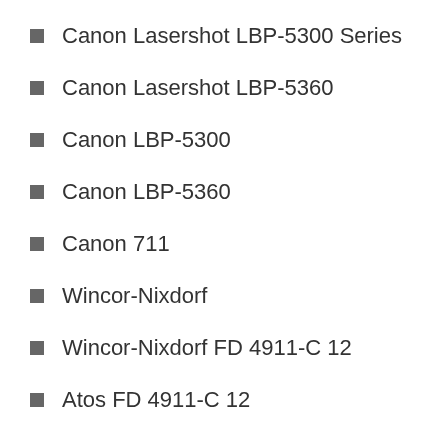Canon Lasershot LBP-5300 Series
Canon Lasershot LBP-5360
Canon LBP-5300
Canon LBP-5360
Canon 711
Wincor-Nixdorf
Wincor-Nixdorf FD 4911-C 12
Atos FD 4911-C 12